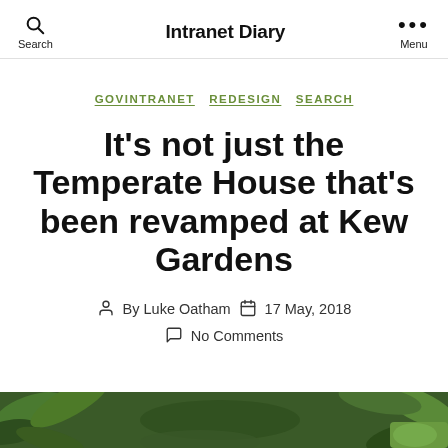Intranet Diary
GOVINTRANET  REDESIGN  SEARCH
It’s not just the Temperate House that’s been revamped at Kew Gardens
By Luke Oatham  17 May, 2018  No Comments
[Figure (photo): Green leafy foliage photo strip at the bottom of the page]